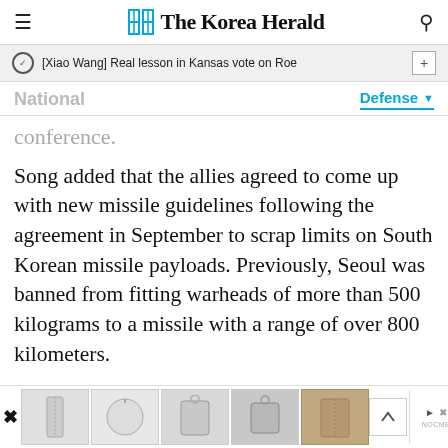The Korea Herald
[Xiao Wang] Real lesson in Kansas vote on Roe
National
Defense
conference.
Song added that the allies agreed to come up with new missile guidelines following the agreement in September to scrap limits on South Korean missile payloads. Previously, Seoul was banned from fitting warheads of more than 500 kilograms to a missile with a range of over 800 kilometers.
[Figure (other): Advertisement banner with product images (bags/accessories) at bottom of page]